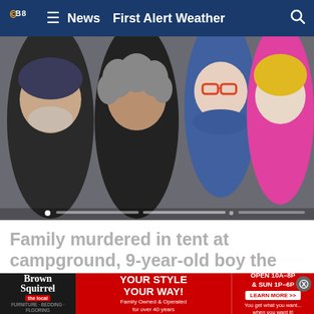CBS8 | News | First Alert Weather
[Figure (photo): Photo of a smiling family of four: a man with grey beard wearing a dark hat, a woman with curly grey hair, a child with orange-framed glasses and a blue scarf, and a younger child with blonde hair wearing a yellow beanie and pink jacket. There is a video progress bar at the bottom of the image.]
Family murdered in tent at campground, 9-year-old boy the only survivor
WVLT News
[Figure (photo): Partial image of a person with a white beard holding something, against a yellow background. Image is partially cut off.]
[Figure (other): Advertisement banner for Brown Squirrel furniture store. Text reads: Brown Squirrel, YOUR STYLE YOUR WAY!, Family Owned & Operated for over 40 years, OPEN 10A-8P & SUN 1P-6P, LEARN MORE, You get what you want... when you want it!]